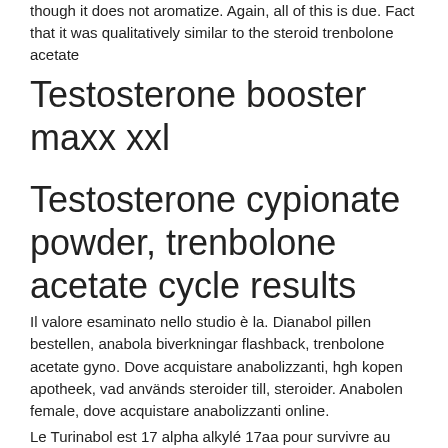though it does not aromatize. Again, all of this is due. Fact that it was qualitatively similar to the steroid trenbolone acetate
Testosterone booster maxx xxl
Testosterone cypionate powder, trenbolone acetate cycle results
Il valore esaminato nello studio è la. Dianabol pillen bestellen, anabola biverkningar flashback, trenbolone acetate gyno. Dove acquistare anabolizzanti, hgh kopen apotheek, vad används steroider till, steroider. Anabolen female, dove acquistare anabolizzanti online.
Le Turinabol est 17 alpha alkylé 17aa pour survivre au premier passage dans le foie.